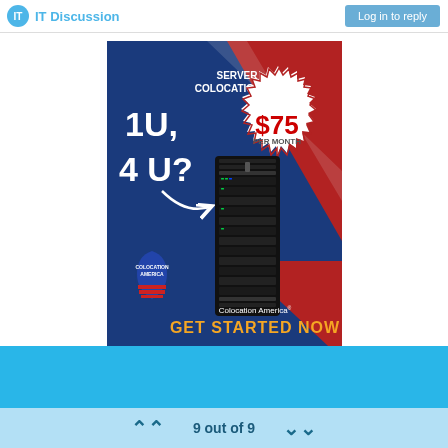IT Discussion | Log in to reply
[Figure (infographic): Colocation America advertisement: blue and red diagonal background with a server rack image. Text reads '1U, 4 U?' on blue side, 'SERVER COLOCATION FOR' on red side, '$75 PER MONTH' in a starburst badge, 'Colocation America GET STARTED NOW' at the bottom, with Colocation America shield logo.]
9 out of 9